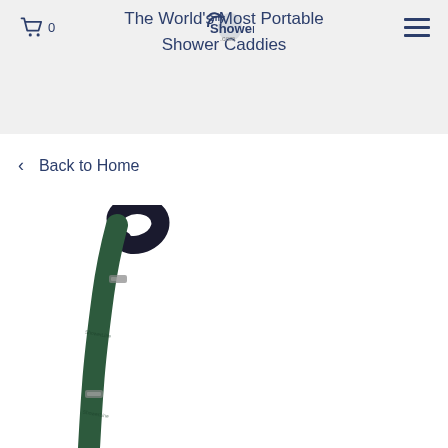myShowerLine.com
The World's Most Portable Shower Caddies
< Back to Home
[Figure (photo): A green shower caddy strap/lanyard with dark loop handle at top, partially visible, shown against white background]